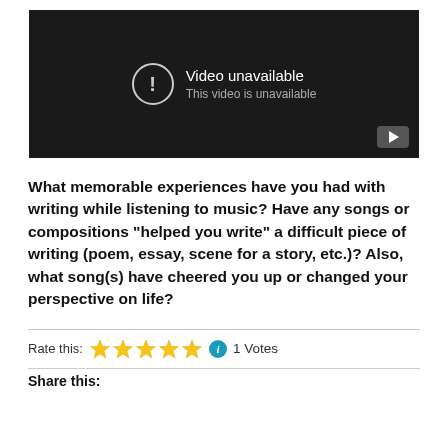[Figure (screenshot): Video player showing 'Video unavailable' message with exclamation icon and YouTube play button in bottom right corner on dark background.]
What memorable experiences have you had with writing while listening to music? Have any songs or compositions “helped you write” a difficult piece of writing (poem, essay, scene for a story, etc.)? Also, what song(s) have cheered you up or changed your perspective on life?
Rate this: ★★★★★ ⓘ 1 Votes
Share this: